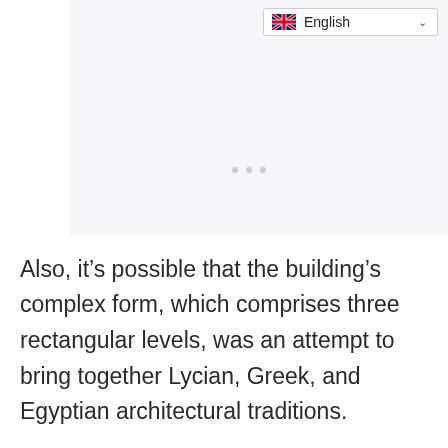[Figure (screenshot): Language selector dropdown showing UK flag and 'English' text with a chevron arrow, on a light grey background with loading dots below]
Also, it’s possible that the building’s complex form, which comprises three rectangular levels, was an attempt to bring together Lycian, Greek, and Egyptian architectural traditions.